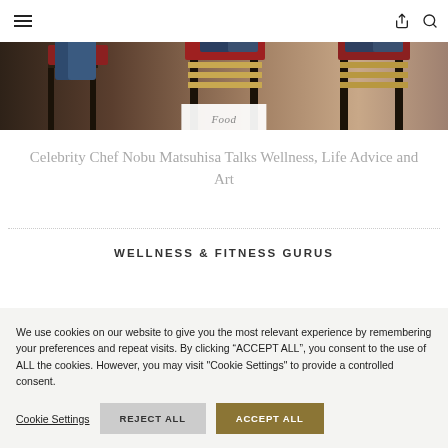Navigation bar with hamburger menu, share icon, and search icon
[Figure (photo): Photo of a person seated on chairs, partially visible legs in jeans, dark wooden chairs with red and tan cushions]
Food
Celebrity Chef Nobu Matsuhisa Talks Wellness, Life Advice and Art
WELLNESS & FITNESS GURUS
We use cookies on our website to give you the most relevant experience by remembering your preferences and repeat visits. By clicking "ACCEPT ALL", you consent to the use of ALL the cookies. However, you may visit "Cookie Settings" to provide a controlled consent.
Cookie Settings | REJECT ALL | ACCEPT ALL